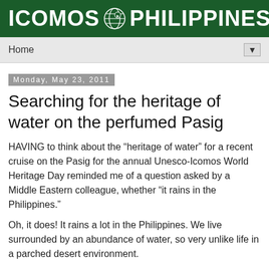ICOMOS PHILIPPINES
Home
Monday, May 23, 2011
Searching for the heritage of water on the perfumed Pasig
HAVING to think about the “heritage of water” for a recent cruise on the Pasig for the annual Unesco-Icomos World Heritage Day reminded me of a question asked by a Middle Eastern colleague, whether “it rains in the Philippines.”
Oh, it does! It rains a lot in the Philippines. We live surrounded by an abundance of water, so very unlike life in a parched desert environment.
Our Filipino lifestyle and culture are influenced by water, something many of us don’t realize from living in an